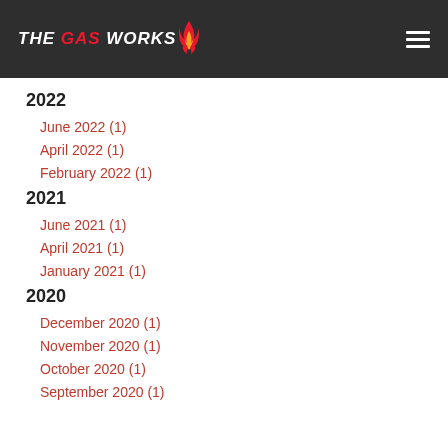THE GAS WORKS
2022
June 2022 (1)
April 2022 (1)
February 2022 (1)
2021
June 2021 (1)
April 2021 (1)
January 2021 (1)
2020
December 2020 (1)
November 2020 (1)
October 2020 (1)
September 2020 (1)